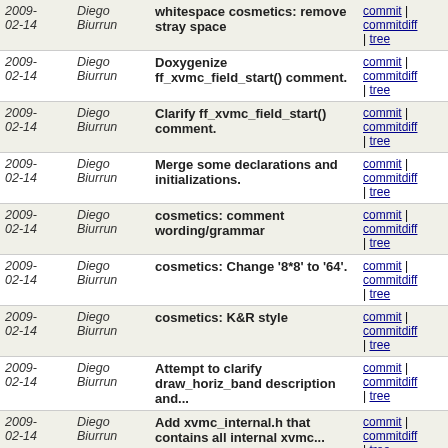| Date | Author | Message | Links |
| --- | --- | --- | --- |
| 2009-02-14 | Diego Biurrun | whitespace cosmetics: remove stray space | commit | commitdiff | tree |
| 2009-02-14 | Diego Biurrun | Doxygenize ff_xvmc_field_start() comment. | commit | commitdiff | tree |
| 2009-02-14 | Diego Biurrun | Clarify ff_xvmc_field_start() comment. | commit | commitdiff | tree |
| 2009-02-14 | Diego Biurrun | Merge some declarations and initializations. | commit | commitdiff | tree |
| 2009-02-14 | Diego Biurrun | cosmetics: comment wording/grammar | commit | commitdiff | tree |
| 2009-02-14 | Diego Biurrun | cosmetics: Change '8*8' to '64'. | commit | commitdiff | tree |
| 2009-02-14 | Diego Biurrun | cosmetics: K&R style | commit | commitdiff | tree |
| 2009-02-14 | Diego Biurrun | Attempt to clarify draw_horiz_band description and... | commit | commitdiff | tree |
| 2009-02-14 | Diego Biurrun | Add xvmc_internal.h that contains all internal xvmc... | commit | commitdiff | tree |
| 2009-02-14 | Diego Biurrun | another (last?) round of K&R whitespace cosmetics | commit | commitdiff | tree |
| 2009-02-14 | Diego Biurrun | whitespace cosmetics: Align some comments. | commit | commitdiff | tree |
| 2009-02-14 | Diego Biurrun | whitespace cosmetics: Put some spaces around operators... | commit | commitdiff | tree |
| 2009-02-14 | Diego Biurrun | Remove a comment that references a non-existing function. | commit | commitdiff | tree |
| 2009-02-14 | Diego | Make one comment slightly clearer and | commit |